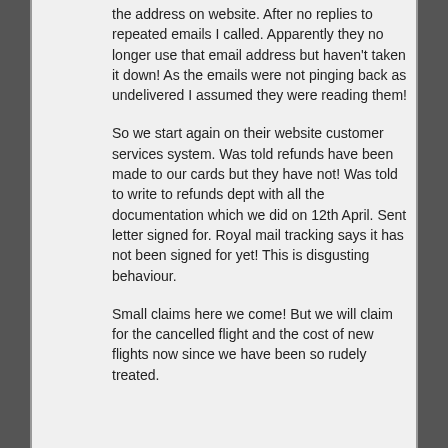the address on website. After no replies to repeated emails I called. Apparently they no longer use that email address but haven't taken it down! As the emails were not pinging back as undelivered I assumed they were reading them!
So we start again on their website customer services system. Was told refunds have been made to our cards but they have not! Was told to write to refunds dept with all the documentation which we did on 12th April. Sent letter signed for. Royal mail tracking says it has not been signed for yet! This is disgusting behaviour.
Small claims here we come! But we will claim for the cancelled flight and the cost of new flights now since we have been so rudely treated.